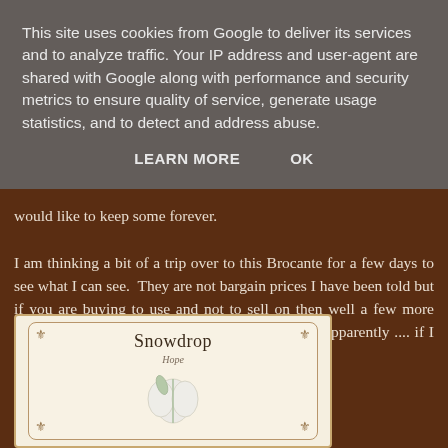This site uses cookies from Google to deliver its services and to analyze traffic. Your IP address and user-agent are shared with Google along with performance and security metrics to ensure quality of service, generate usage statistics, and to detect and address abuse.
LEARN MORE    OK
would like to keep some forever.
I am thinking a bit of a trip over to this Brocante for a few days to see what I can see.  They are not bargain prices I have been told but if you are buying to use and not to sell on then well a few more would be great, so many colours to choose from apparently .... if I had a tail now it would be wagging!
[Figure (illustration): A decorative card or label with ornamental border corners showing the text 'Snowdrop' with a subtitle below, and a floral illustration in the lower portion.]